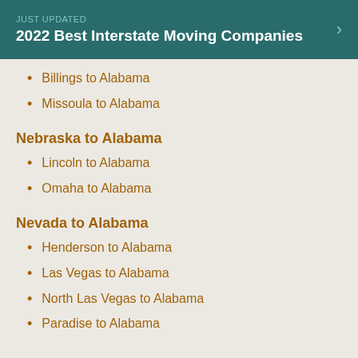JUST UPDATED
2022 Best Interstate Moving Companies
Billings to Alabama
Missoula to Alabama
Nebraska to Alabama
Lincoln to Alabama
Omaha to Alabama
Nevada to Alabama
Henderson to Alabama
Las Vegas to Alabama
North Las Vegas to Alabama
Paradise to Alabama